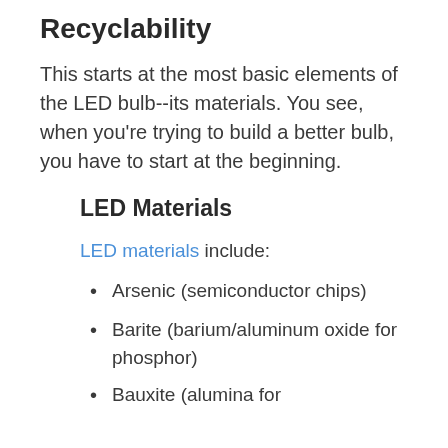Recyclability
This starts at the most basic elements of the LED bulb--its materials. You see, when you're trying to build a better bulb, you have to start at the beginning.
LED Materials
LED materials include:
Arsenic (semiconductor chips)
Barite (barium/aluminum oxide for phosphor)
Bauxite (alumina for